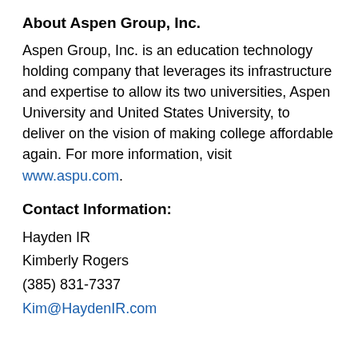About Aspen Group, Inc.
Aspen Group, Inc. is an education technology holding company that leverages its infrastructure and expertise to allow its two universities, Aspen University and United States University, to deliver on the vision of making college affordable again. For more information, visit www.aspu.com.
Contact Information:
Hayden IR
Kimberly Rogers
(385) 831-7337
Kim@HaydenIR.com